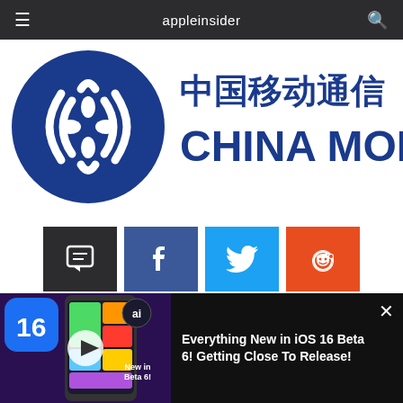appleinsider
[Figure (logo): China Mobile logo with Chinese characters and English text 'CHINA MOBILE' in dark blue]
[Figure (infographic): Four social sharing buttons: comment (dark), Facebook (blue), Twitter (light blue), Reddit (orange)]
AppleInsider is supported by its audience and may earn commission as an Amazon Associate and affiliate partner on qualifying purchases. These affiliate
[Figure (screenshot): Video thumbnail showing iOS 16 with play button and text 'New in Beta 6!' with title 'Everything New in iOS 16 Beta 6! Getting Close To Release!']